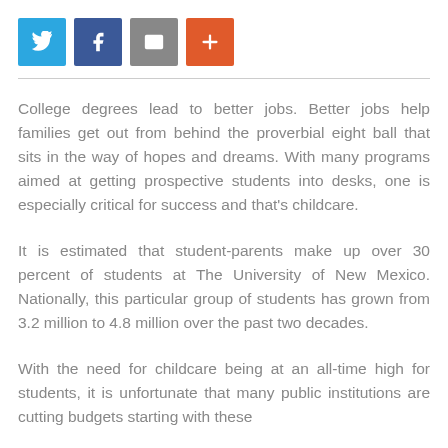[Figure (other): Social sharing buttons: Twitter (blue), Facebook (dark blue), Email (grey), Plus/More (orange-red)]
College degrees lead to better jobs. Better jobs help families get out from behind the proverbial eight ball that sits in the way of hopes and dreams. With many programs aimed at getting prospective students into desks, one is especially critical for success and that's childcare.
It is estimated that student-parents make up over 30 percent of students at The University of New Mexico. Nationally, this particular group of students has grown from 3.2 million to 4.8 million over the past two decades.
With the need for childcare being at an all-time high for students, it is unfortunate that many public institutions are cutting budgets starting with these